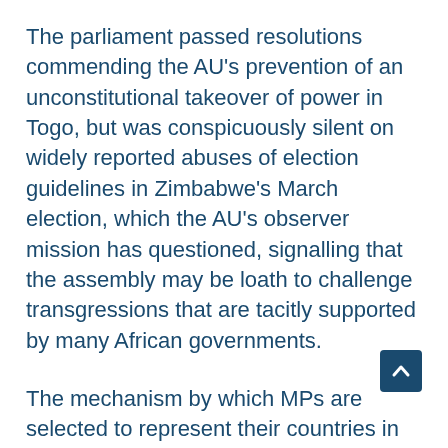The parliament passed resolutions commending the AU's prevention of an unconstitutional takeover of power in Togo, but was conspicuously silent on widely reported abuses of election guidelines in Zimbabwe's March election, which the AU's observer mission has questioned, signalling that the assembly may be loath to challenge transgressions that are tacitly supported by many African governments.
The mechanism by which MPs are selected to represent their countries in the parliament merits scrutiny. MPs from countries such as Uganda, to all intents a one-party state, surely lack credibility. Libyan MPs are even less representative, as Libya has no national assembly. Yet the parliament elected...